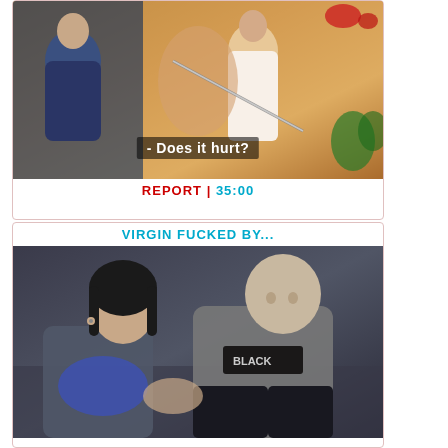[Figure (photo): Animated/illustrated thumbnail showing figures with text overlay '- Does it hurt?']
REPORT | 35:00
VIRGIN FUCKED BY...
[Figure (photo): Photograph thumbnail showing two people, a young woman with dark hair and a bald man wearing a black shirt]